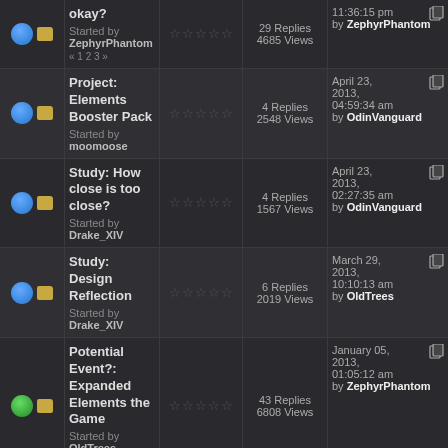| Icons | Topic | Rating | Stats | Last Post |
| --- | --- | --- | --- | --- |
| blue+folder | okay?
Started by ZephyrPhantom
« 1 2 3 » | ☆☆☆☆☆ | 29 Replies
4685 Views | 11:36:15 pm
by ZephyrPhantom |
| blue+folder | Project: Elements Booster Pack
Started by moomoose | ☆☆☆☆☆ | 4 Replies
2548 Views | April 23, 2013, 04:59:34 am
by OdinVanguard |
| blue+folder | Study: How close is too close?
Started by Drake_XIV | ☆☆☆☆☆ | 4 Replies
1567 Views | April 23, 2013, 02:27:35 am
by OdinVanguard |
| blue+folder | Study: Design Reflection
Started by Drake_XIV | ☆☆☆☆☆ | 6 Replies
2019 Views | March 29, 2013, 10:10:13 am
by OldTrees |
| green+folder | Potential Event?: Expanded Elements the Game
Started by OldTrees « 1 2 3 4 » | ☆☆☆☆☆ | 43 Replies
6808 Views | January 05, 2013, 01:05:12 am
by ZephyrPhantom |